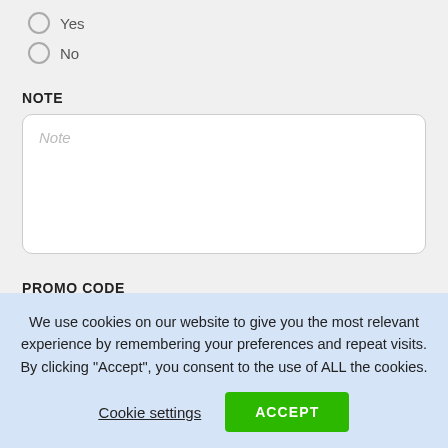Yes
No
NOTE
Note
PROMO CODE
We use cookies on our website to give you the most relevant experience by remembering your preferences and repeat visits. By clicking “Accept”, you consent to the use of ALL the cookies.
Cookie settings
ACCEPT